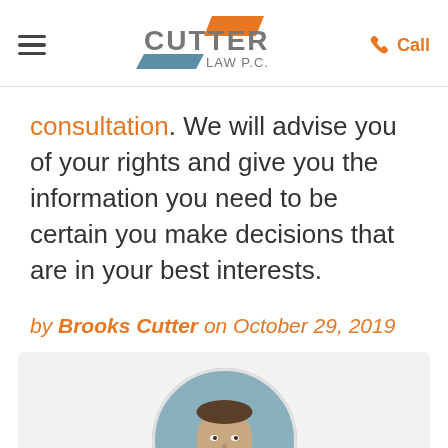Cutter Law P.C. — navigation header with logo and Call button
consultation. We will advise you of your rights and give you the information you need to be certain you make decisions that are in your best interests.
by Brooks Cutter on October 29, 2019
[Figure (photo): Circular headshot portrait of Brooks Cutter, a man in a suit and tie, with a light blue background]